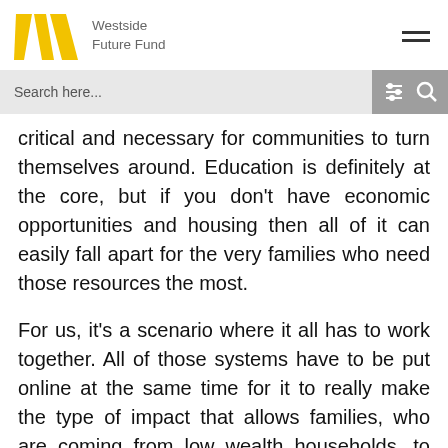Westside Future Fund
Search here...
critical and necessary for communities to turn themselves around. Education is definitely at the core, but if you don’t have economic opportunities and housing then all of it can easily fall apart for the very families who need those resources the most.
For us, it’s a scenario where it all has to work together. All of those systems have to be put online at the same time for it to really make the type of impact that allows families, who are coming from low wealth households, to have the benefit and opportunities to stay in a community